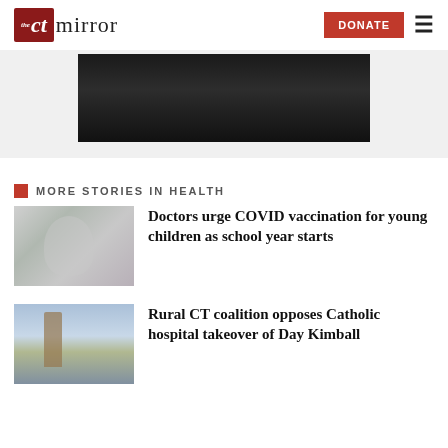the CT mirror
[Figure (photo): Dark hero image, partially visible, dark background]
MORE STORIES IN HEALTH
[Figure (photo): Two people wearing masks, one appearing to be a medical professional]
Doctors urge COVID vaccination for young children as school year starts
[Figure (photo): Rural building/hospital exterior with sky background]
Rural CT coalition opposes Catholic hospital takeover of Day Kimball